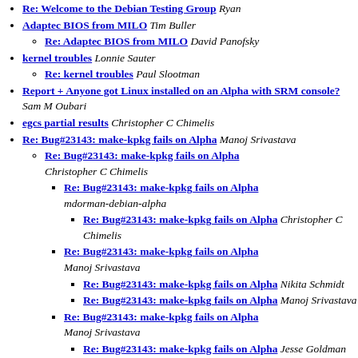Re: Welcome to the Debian Testing Group Ryan
Adaptec BIOS from MILO Tim Buller
Re: Adaptec BIOS from MILO David Panofsky
kernel troubles Lonnie Sauter
Re: kernel troubles Paul Slootman
Report + Anyone got Linux installed on an Alpha with SRM console? Sam M Oubari
egcs partial results Christopher C Chimelis
Re: Bug#23143: make-kpkg fails on Alpha Manoj Srivastava
Re: Bug#23143: make-kpkg fails on Alpha Christopher C Chimelis
Re: Bug#23143: make-kpkg fails on Alpha mdorman-debian-alpha
Re: Bug#23143: make-kpkg fails on Alpha Christopher C Chimelis
Re: Bug#23143: make-kpkg fails on Alpha Manoj Srivastava
Re: Bug#23143: make-kpkg fails on Alpha Nikita Schmidt
Re: Bug#23143: make-kpkg fails on Alpha Manoj Srivastava
Re: Bug#23143: make-kpkg fails on Alpha Manoj Srivastava
Re: Bug#23143: make-kpkg fails on Alpha Jesse Goldman